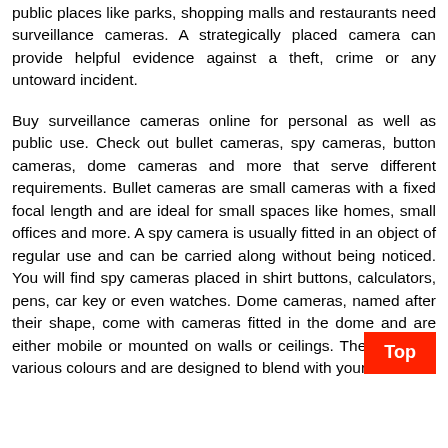public places like parks, shopping malls and restaurants need surveillance cameras. A strategically placed camera can provide helpful evidence against a theft, crime or any untoward incident.
Buy surveillance cameras online for personal as well as public use. Check out bullet cameras, spy cameras, button cameras, dome cameras and more that serve different requirements. Bullet cameras are small cameras with a fixed focal length and are ideal for small spaces like homes, small offices and more. A spy camera is usually fitted in an object of regular use and can be carried along without being noticed. You will find spy cameras placed in shirt buttons, calculators, pens, car key or even watches. Dome cameras, named after their shape, come with cameras fitted in the dome and are either mobile or mounted on walls or ceilings. They come in various colours and are designed to blend with your décor.